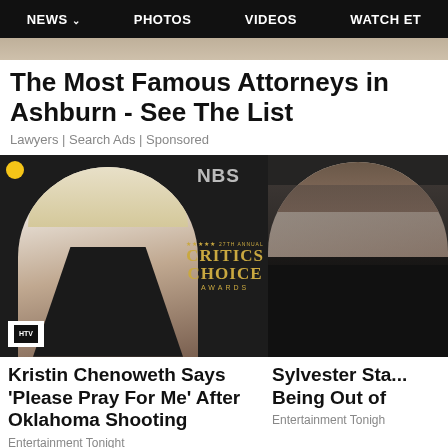NEWS  PHOTOS  VIDEOS  WATCH ET
[Figure (photo): Partial top image of a person, cropped]
The Most Famous Attorneys in Ashburn - See The List
Lawyers | Search Ads | Sponsored
[Figure (photo): Kristin Chenoweth at the 27th Annual Critics Choice Awards, wearing a black halter-neck dress]
Kristin Chenoweth Says 'Please Pray For Me' After Oklahoma Shooting
Entertainment Tonight
[Figure (photo): Sylvester Stallone's companion at a red carpet event, wearing a black outfit]
Sylvester Sta... Being Out of
Entertainment Tonigh